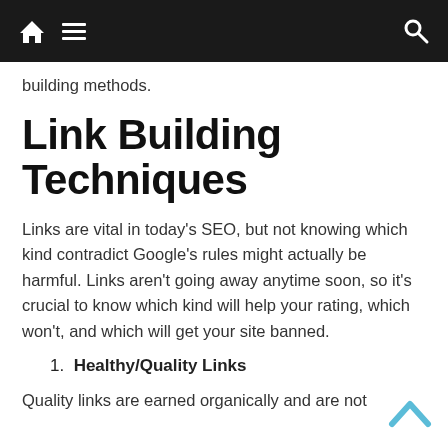[navigation bar with home, menu, and search icons]
building methods.
Link Building Techniques
Links are vital in today's SEO, but not knowing which kind contradict Google's rules might actually be harmful. Links aren't going away anytime soon, so it's crucial to know which kind will help your rating, which won't, and which will get your site banned.
1. Healthy/Quality Links
Quality links are earned organically and are not